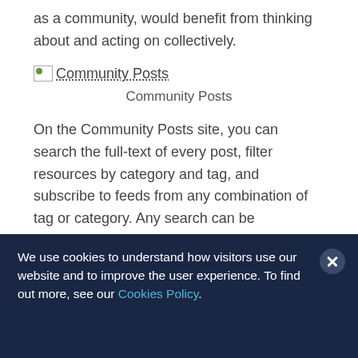as a community, would benefit from thinking about and acting on collectively.
[Figure (illustration): Broken image icon followed by text 'Community Posts' with dotted underline]
Community Posts
On the Community Posts site, you can search the full-text of every post, filter resources by category and tag, and subscribe to feeds from any combination of tag or category. Any search can be
We use cookies to understand how visitors use our website and to improve the user experience. To find out more, see our Cookies Policy.